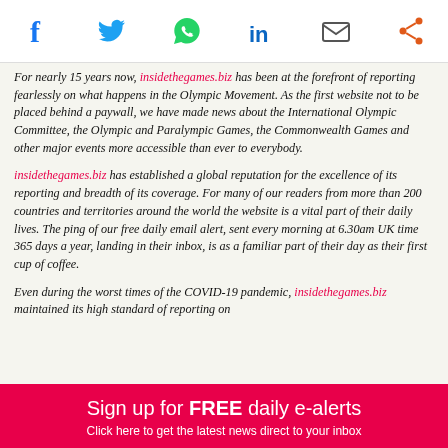[Figure (other): Social media sharing icons: Facebook, Twitter, WhatsApp, LinkedIn, Email, Share]
For nearly 15 years now, insidethegames.biz has been at the forefront of reporting fearlessly on what happens in the Olympic Movement. As the first website not to be placed behind a paywall, we have made news about the International Olympic Committee, the Olympic and Paralympic Games, the Commonwealth Games and other major events more accessible than ever to everybody.
insidethegames.biz has established a global reputation for the excellence of its reporting and breadth of its coverage. For many of our readers from more than 200 countries and territories around the world the website is a vital part of their daily lives. The ping of our free daily email alert, sent every morning at 6.30am UK time 365 days a year, landing in their inbox, is as a familiar part of their day as their first cup of coffee.
Even during the worst times of the COVID-19 pandemic, insidethegames.biz maintained its high standard of reporting on
Sign up for FREE daily e-alerts
Click here to get the latest news direct to your inbox